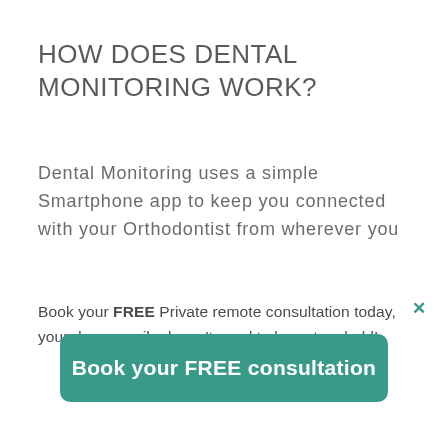HOW DOES DENTAL MONITORING WORK?
Dental Monitoring uses a simple Smartphone app to keep you connected with your Orthodontist from wherever you
Book your FREE Private remote consultation today, your dream smile doesn't need to be put on hold!
Book your FREE consultation